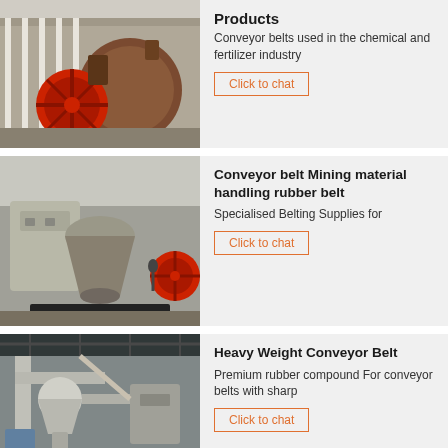[Figure (photo): Industrial conveyor belt machinery with red wheel in a factory setting]
Products
Conveyor belts used in the chemical and fertilizer industry
Click to chat
[Figure (photo): Mining material handling machinery with heavy industrial equipment in a yard]
Conveyor belt Mining material handling rubber belt
Specialised Belting Supplies for
Click to chat
[Figure (photo): Heavy weight conveyor belt processing equipment in a warehouse]
Heavy Weight Conveyor Belt
Premium rubber compound For conveyor belts with sharp
Click to chat